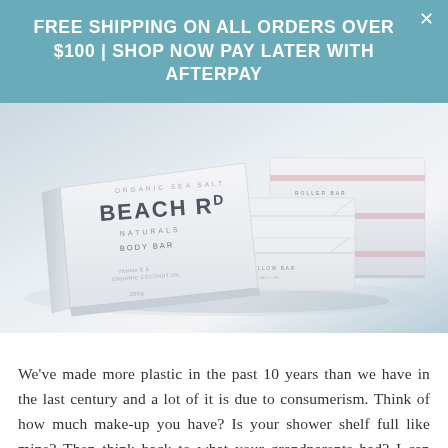FREE SHIPPING ON ALL ORDERS OVER $100 | SHOP NOW PAY LATER WITH AFTERPAY
[Figure (photo): Photo of Beach Rd Naturals organic sea salt body bar soap products in white minimalist packaging, stacked on a light surface]
We've made more plastic in the past 10 years than we have in the last century and a lot of it is due to consumerism. Think of how much make-up you have? Is your shower shelf full like mine? Then think back to what your grandparents had? I can guarantee it didn't